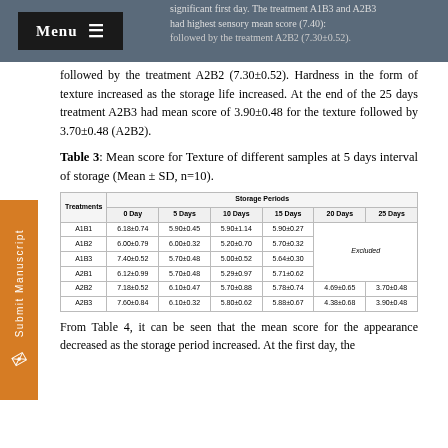significant first day. The treatment A1B3 and A2B3 had highest sensory mean score (7.40) followed by the treatment A2B2 (7.30±0.52).
followed by the treatment A2B2 (7.30±0.52). Hardness in the form of texture increased as the storage life increased. At the end of the 25 days treatment A2B3 had mean score of 3.90±0.48 for the texture followed by 3.70±0.48 (A2B2).
Table 3: Mean score for Texture of different samples at 5 days interval of storage (Mean ± SD, n=10).
| Treatments | 0 Day | 5 Days | 10 Days | 15 Days | 20 Days | 25 Days |
| --- | --- | --- | --- | --- | --- | --- |
| A1B1 | 6.18±0.74 | 5.90±0.45 | 5.90±1.14 | 5.90±0.27 | Excluded | Excluded |
| A1B2 | 6.00±0.79 | 6.00±0.32 | 5.20±0.70 | 5.70±0.32 | Excluded | Excluded |
| A1B3 | 7.40±0.52 | 5.70±0.48 | 5.00±0.52 | 5.64±0.30 | Excluded | Excluded |
| A2B1 | 6.12±0.99 | 5.70±0.48 | 5.29±0.97 | 5.71±0.62 | Excluded | Excluded |
| A2B2 | 7.18±0.52 | 6.10±0.47 | 5.70±0.88 | 5.78±0.74 | 4.69±0.65 | 3.70±0.48 |
| A2B3 | 7.60±0.84 | 6.10±0.32 | 5.80±0.62 | 5.88±0.67 | 4.38±0.68 | 3.90±0.48 |
From Table 4, it can be seen that the mean score for the appearance decreased as the storage period increased. At the first day, the